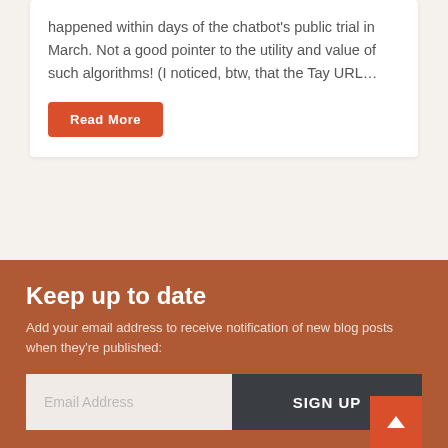happened within days of the chatbot's public trial in March. Not a good pointer to the utility and value of such algorithms! (I noticed, btw, that the Tay URL…
Read More
Keep up to date
Add your email address to receive notification of new blog posts when they're published:
Email Address
SIGN UP